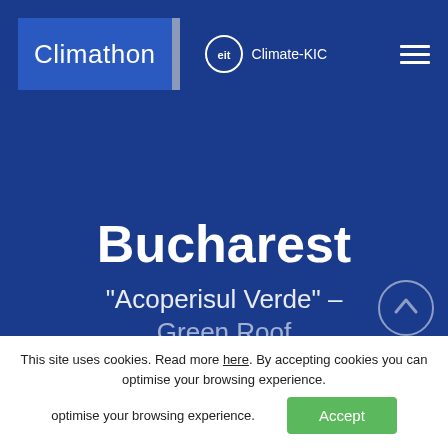[Figure (logo): Climathon logo with blue background and 'Climathon' text, vertical bar separator]
[Figure (logo): EIT Climate-KIC logo with circle icon and text]
[Figure (illustration): Hamburger menu icon (three horizontal lines)]
Bucharest
"Acoperisul Verde" – Green Roof
This site uses cookies. Read more here. By accepting cookies you can optimise your browsing experience.
Accept